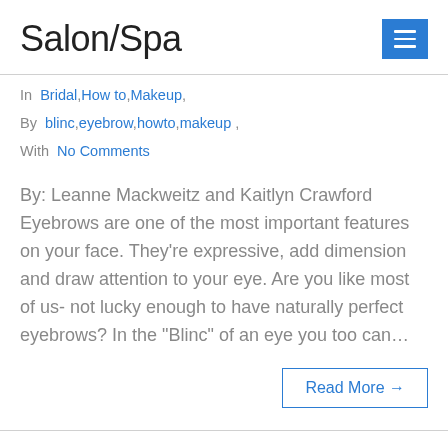Salon/Spa
In Bridal,How to,Makeup,
By blinc,eyebrow,howto,makeup ,
With No Comments
By: Leanne Mackweitz and Kaitlyn Crawford Eyebrows are one of the most important features on your face. They’re expressive, add dimension and draw attention to your eye. Are you like most of us- not lucky enough to have naturally perfect eyebrows? In the “Blinc” of an eye you too can…
Read More →